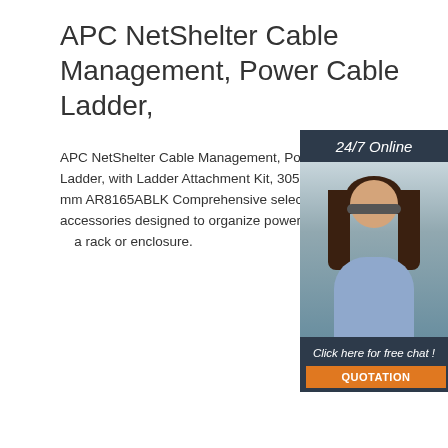APC NetShelter Cable Management, Power Cable Ladder,
APC NetShelter Cable Management, Power Cable Ladder, with Ladder Attachment Kit, 305 x 3023 x 51 mm AR8165ABLK Comprehensive selection of accessories designed to organize power or data cables in a rack or enclosure.
[Figure (photo): Customer service representative (woman with headset) with '24/7 Online' header, 'Click here for free chat!' text and 'QUOTATION' button on dark blue background panel]
Get Price
QUOTATION